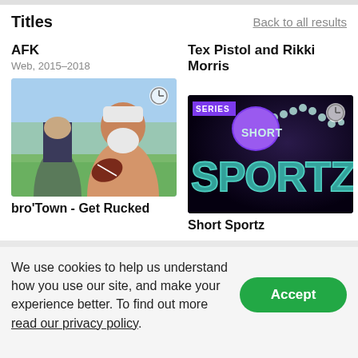Titles
Back to all results
AFK
Tex Pistol and Rikki Morris
Web, 2015–2018
[Figure (illustration): Animated thumbnail for bro'Town - Get Rucked showing cartoon characters including a large muscular man holding a rugby ball]
[Figure (illustration): Dark thumbnail for Short Sportz series showing 'SHORT SPORTZ' text with dotted line graphic and SERIES badge]
bro'Town - Get Rucked
Short Sportz
We use cookies to help us understand how you use our site, and make your experience better. To find out more read our privacy policy.